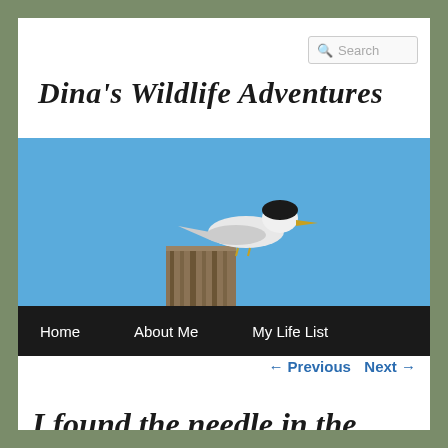Search
Dina's Wildlife Adventures
[Figure (photo): A tern bird perched on a wooden post against a blue sky background]
Home   About Me   My Life List
← Previous   Next →
I found the needle in the